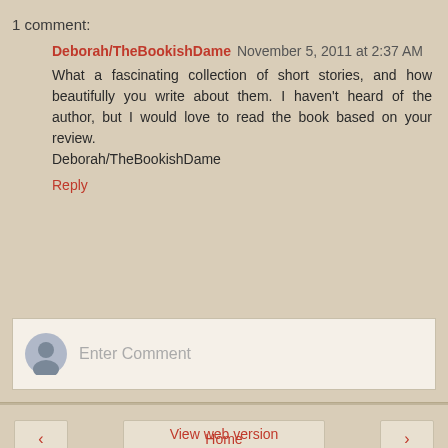1 comment:
Deborah/TheBookishDame November 5, 2011 at 2:37 AM
What a fascinating collection of short stories, and how beautifully you write about them. I haven't heard of the author, but I would love to read the book based on your review.
Deborah/TheBookishDame
Reply
[Figure (screenshot): Comment input box with user avatar icon and placeholder text 'Enter Comment']
Home
View web version